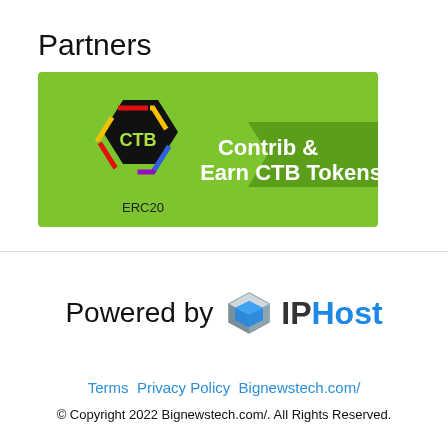Partners
[Figure (logo): CTB (Contrib Token) ERC20 banner: green background with black hexagon CTB logo and text 'Contrib & Earn CTB Tokens']
[Figure (logo): Powered by IPHost logo: gray 3D cube icon next to 'IP' in dark gray and 'Host' in blue text]
Terms  Privacy Policy  Bignewstech.com/
© Copyright 2022 Bignewstech.com/. All Rights Reserved.